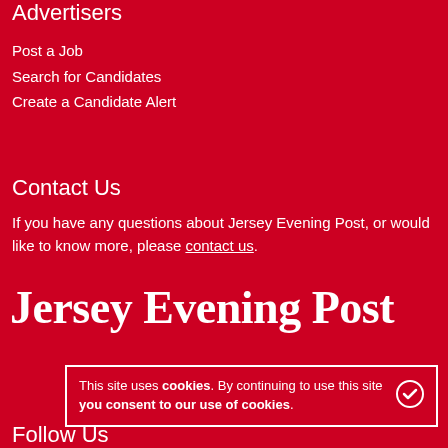Advertisers
Post a Job
Search for Candidates
Create a Candidate Alert
Contact Us
If you have any questions about Jersey Evening Post, or would like to know more, please contact us.
[Figure (logo): Jersey Evening Post logo in bold white serif font on red background]
This site uses cookies. By continuing to use this site you consent to our use of cookies.
Follow Us